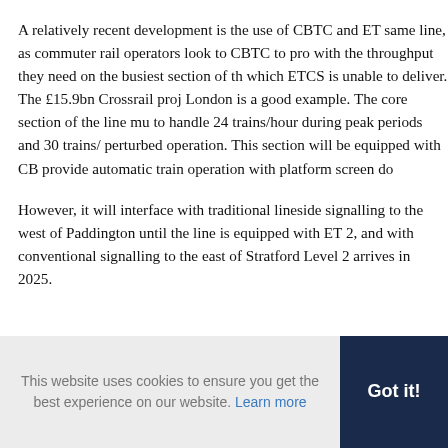A relatively recent development is the use of CBTC and ET same line, as commuter rail operators look to CBTC to pro with the throughput they need on the busiest section of th which ETCS is unable to deliver. The £15.9bn Crossrail proj London is a good example. The core section of the line mu to handle 24 trains/hour during peak periods and 30 trains/ perturbed operation. This section will be equipped with CB provide automatic train operation with platform screen do
However, it will interface with traditional lineside signalling to the west of Paddington until the line is equipped with ET 2, and with conventional signalling to the east of Stratford Level 2 arrives in 2025.
This website uses cookies to ensure you get the best experience on our website. Learn more